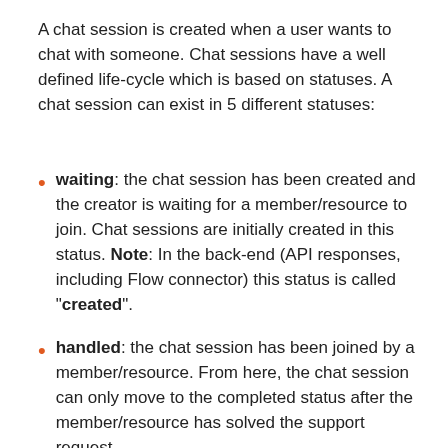A chat session is created when a user wants to chat with someone. Chat sessions have a well defined life-cycle which is based on statuses. A chat session can exist in 5 different statuses:
waiting: the chat session has been created and the creator is waiting for a member/resource to join. Chat sessions are initially created in this status. Note: In the back-end (API responses, including Flow connector) this status is called "created".
handled: the chat session has been joined by a member/resource. From here, the chat session can only move to the completed status after the member/resource has solved the support request.
abandoned: the chat session creator has left the chat session before it could be joined by a